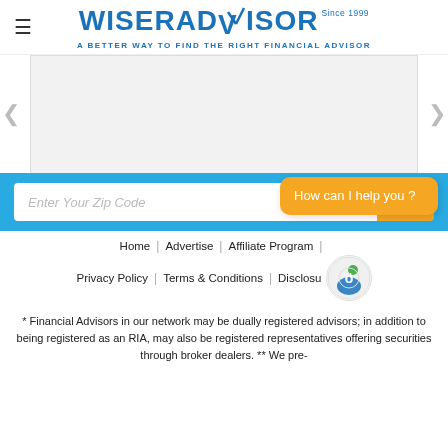≡ WISERADVISOR Since 1999 — A BETTER WAY TO FIND THE RIGHT FINANCIAL ADVISOR
[Figure (screenshot): Gray card/slider area with partially visible blue link text and navigation arrows on left and right]
[Figure (screenshot): Blue banner with zip code input field, Find button, and orange chat bubble saying 'How can I help you?']
Home | Advertise | Affiliate Program | Privacy Policy | Terms & Conditions | Disclosu...
* Financial Advisors in our network may be dually registered advisors; in addition to being registered as an RIA, may also be registered representatives offering securities through broker dealers. ** We pre-